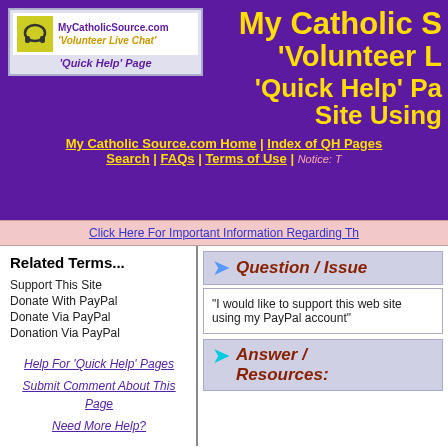[Figure (logo): MyCatholicSource.com Volunteer Live Chat Quick Help Page logo with headphones icon]
My Catholic Source.com 'Volunteer Live Chat' 'Quick Help' Page Site Using...
My Catholic Source.com Home | Index of QH Pages | Search | FAQs | Terms of Use | Notice: T...
Click Here For Important Information Regarding Th...
Related Terms...
Support This Site
Donate With PayPal
Donate Via PayPal
Donation Via PayPal
Help For 'Quick Help' Pages
Submit Comment About This Page
Need More Help?
Question / Issue
"I would like to support this web site... using my PayPal account"
Answer / Resources: